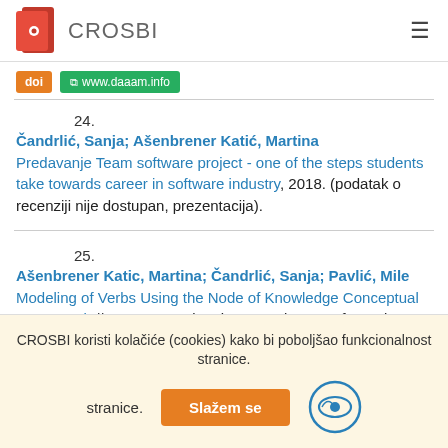CROSBI
doi  www.daaam.info
24. Čandrlić, Sanja; Ašenbrener Katić, Martina
Predavanje Team software project - one of the steps students take towards career in software industry, 2018. (podatak o recenziji nije dostupan, prezentacija).
25. Ašenbrener Katic, Martina; Čandrlić, Sanja; Pavlić, Mile
Modeling of Verbs Using the Node of Knowledge Conceptual Framework // 41st International Convention on Information and Communication Technology, Electronics and Microelectronics
CROSBI koristi kolačiće (cookies) kako bi poboljšao funkcionalnost stranice.
Slažem se